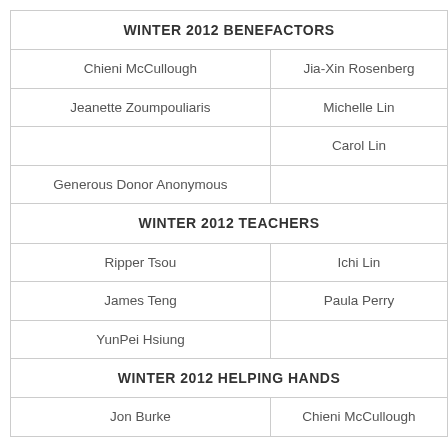| WINTER 2012 BENEFACTORS |  |
| Chieni McCullough | Jia-Xin Rosenberg |
| Jeanette Zoumpouliaris | Michelle Lin |
|  | Carol Lin |
| Generous Donor Anonymous |  |
| WINTER 2012 TEACHERS |  |
| Ripper Tsou | Ichi Lin |
| James Teng | Paula Perry |
| YunPei Hsiung |  |
| WINTER 2012 HELPING HANDS |  |
| Jon Burke | Chieni McCullough |